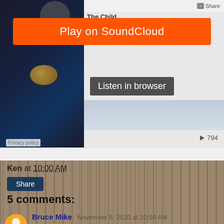[Figure (screenshot): SoundCloud embedded player with orange 'Play on SoundCloud' button, dark background with planetary image, 'Listen in browser' button, waveform, and play count of 794. Shows 'The Child' title and Share link at top right.]
Privacy policy
Ken at 10:00 AM
Share
5 comments:
Bruce Mike November 5, 2020 at 10:58 AM
Hello everyone..Welcome to my free masterclass strategy where i teach experience and inexperience traders the secret behind a successful trade.And how to be profitable in trading I will also teach you how to make a profit of $12,000 USD weekly and how to get back all your lost funds feel free to email me on (.brucemike108@gmail.com.)